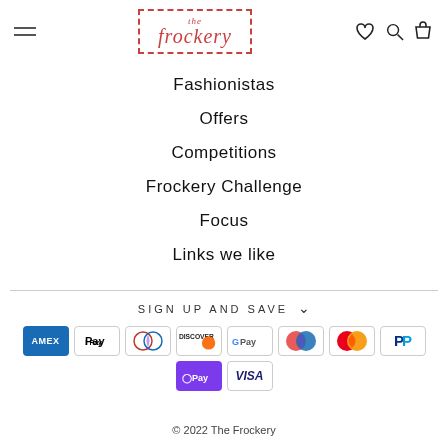[Figure (logo): The Frockery logo in a red dashed border box with italic serif font]
Fashionistas
Offers
Competitions
Frockery Challenge
Focus
Links we like
SIGN UP AND SAVE
[Figure (other): Payment icons: American Express, Apple Pay, Diners Club, Discover, Google Pay, Maestro, Mastercard, PayPal, OPay, Visa]
© 2022 The Frockery